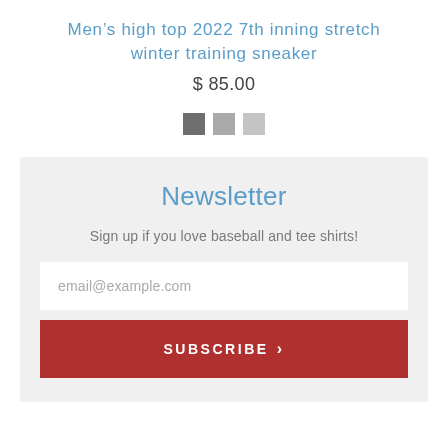Men’s high top 2022 7th inning stretch winter training sneaker
$ 85.00
[Figure (other): Three color swatches: dark gray, medium gray, light gray]
Newsletter
Sign up if you love baseball and tee shirts!
email@example.com
SUBSCRIBE